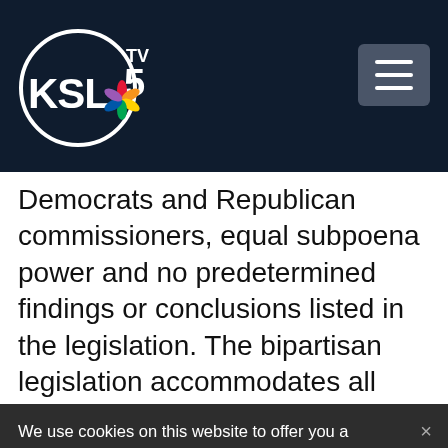KSL TV 5 — Navigation header with logo and menu button
Democrats and Republican commissioners, equal subpoena power and no predetermined findings or conclusions listed in the legislation. The bipartisan legislation accommodates all three of those requests,
We use cookies on this website to offer you a superior user experience, analyze site traffic, and personalize content and advertisements. By continuing to use our site, you consent to our use of cookies. Please visit our Privacy Policy for more information.
Accept Cookies